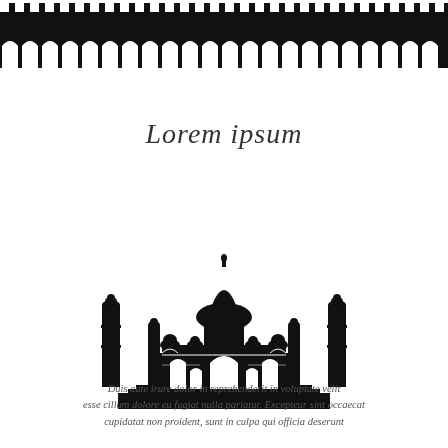[Figure (illustration): Black silhouette decorative border at top of page showing a crenellated wall with arched windows/openings — resembles an Indian palace or fort battlement with repeating arch motifs.]
Lorem ipsum
[Figure (illustration): Black silhouette illustration of the Taj Mahal, showing the central dome, the main arch entrance, four flanking minarets, smaller domed kiosks, decorative arches, and a wide platform base.]
Duis aute irure dolor in reprehenderit in voluptate velit esse cillum dolore eu fugiat nulla pariatur. Excepteur sint occaecat cupidatat non proident, sunt in culpa qui officia deserunt